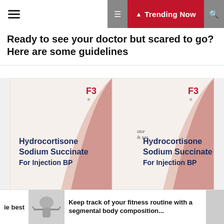Trending Now
Ready to see your doctor but scared to go? Here are some guidelines
[Figure (photo): Two identical boxes of Hydrocortisone Sodium Succinate For Injection BP, branded with FB logo, shown side by side]
2 years ago
Widely-used and cheap steroid hydrocortisone can cut coronavirus deaths by a THIRD
Keep track of your fitness routine with a segmental body composition...